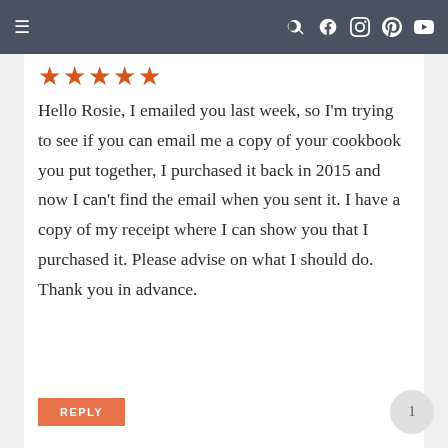Navigation bar with hamburger menu and social icons (search, facebook, instagram, pinterest, youtube)
[Figure (other): Five filled orange/red star rating icons]
Hello Rosie, I emailed you last week, so I'm trying to see if you can email me a copy of your cookbook you put together, I purchased it back in 2015 and now I can't find the email when you sent it. I have a copy of my receipt where I can show you that I purchased it. Please advise on what I should do. Thank you in advance.
REPLY